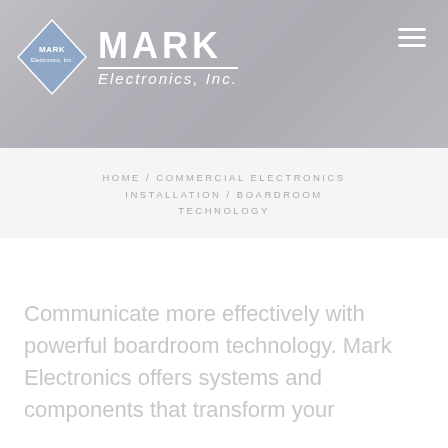[Figure (photo): Hero banner image with a muted/washed-out background showing a person, overlaid with the Mark Electronics Inc. logo and navigation hamburger menu.]
HOME / COMMERCIAL ELECTRONICS INSTALLATION / BOARDROOM TECHNOLOGY
Communicate more effectively with powerful boardroom technology. Mark Electronics offers systems and components that transform your